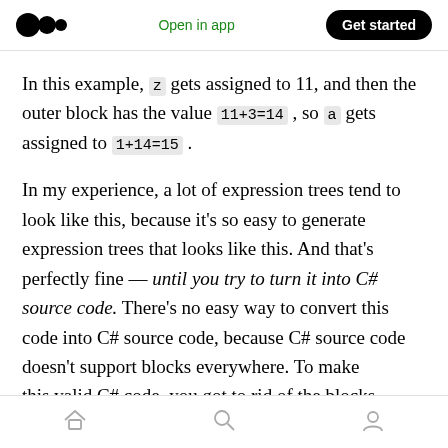Medium logo | Open in app | Get started
In this example, z gets assigned to 11, and then the outer block has the value 11+3=14 , so a gets assigned to 1+14=15 .
In my experience, a lot of expression trees tend to look like this, because it's so easy to generate expression trees that looks like this. And that's perfectly fine — until you try to turn it into C# source code. There's no easy way to convert this code into C# source code, because C# source code doesn't support blocks everywhere. To make this valid C# code, you got to rid of the blocks...
Home | Search | Profile